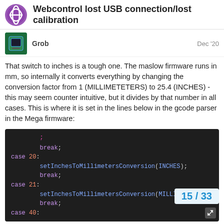Webcontrol lost USB connection/lost calibration
Grob   Dec '20
That switch to inches is a tough one. The maslow firmware runs in mm, so internally it converts everything by changing the conversion factor from 1 (MILLIMETETERS) to 25.4 (INCHES) - this may seem counter intuitive, but it divides by that number in all cases. This is where it is set in the lines below in the gcode parser in the Mega firmware:
[Figure (screenshot): Code block showing C++ switch cases for setInchesToMillimetersConversion(INCHES) and setInchesToMillimetersConversion(MILLIMETERS)]
Webcontrol keeps track of what the setting is so it will display correctly on the workspace canvas…
15 / 33
[Figure (screenshot): Partial code block showing: if gString == "G20":]